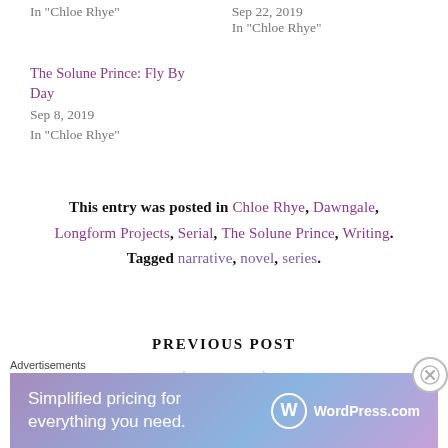In "Chloe Rhye"
Sep 22, 2019
In "Chloe Rhye"
The Solune Prince: Fly By Day
Sep 8, 2019
In "Chloe Rhye"
This entry was posted in Chloe Rhye, Dawngale, Longform Projects, Serial, The Solune Prince, Writing. Tagged narrative, novel, series.
PREVIOUS POST
Advertisements
[Figure (infographic): WordPress.com advertisement banner: 'Simplified pricing for everything you need.' with WordPress.com logo]